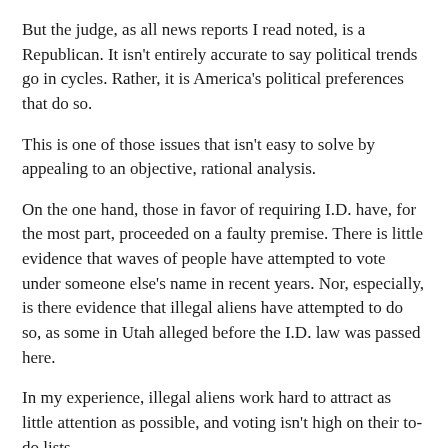But the judge, as all news reports I read noted, is a Republican. It isn't entirely accurate to say political trends go in cycles. Rather, it is America's political preferences that do so.
This is one of those issues that isn't easy to solve by appealing to an objective, rational analysis.
On the one hand, those in favor of requiring I.D. have, for the most part, proceeded on a faulty premise. There is little evidence that waves of people have attempted to vote under someone else's name in recent years. Nor, especially, is there evidence that illegal aliens have attempted to do so, as some in Utah alleged before the I.D. law was passed here.
In my experience, illegal aliens work hard to attract as little attention as possible, and voting isn't high on their to-do lists.
On the other hand, it would be foolish not to guard against voter fraud, nor to think that people won't engage in it if it's easily done. Politics is a particularly nasty business. It involves power, and not